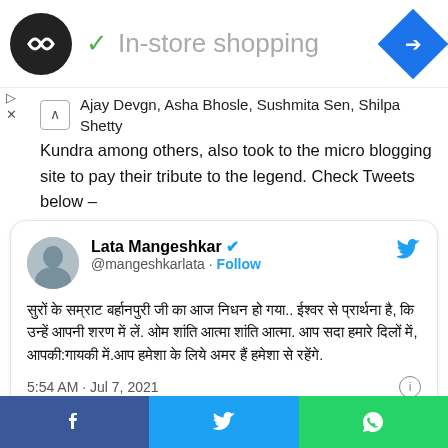[Figure (screenshot): Ad banner with circular logo, checkmark, 'In-store shopping' text, and blue navigation diamond icon]
Ajay Devgn, Asha Bhosle, Sushmita Sen, Shilpa Shetty Kundra among others, also took to the micro blogging site to pay their tribute to the legend. Check Tweets below –
[Figure (screenshot): Tweet from Lata Mangeshkar (@mangeshkarlata) with verified badge, Follow button, Hindi text, timestamp 5:54 AM · Jul 7, 2021]